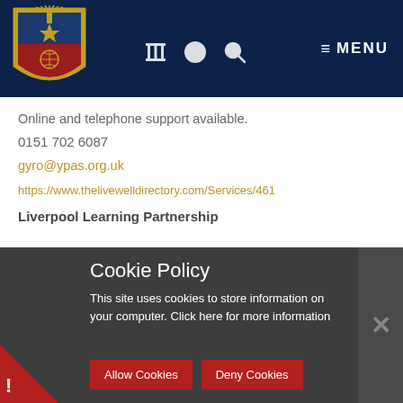[Figure (logo): University/institution shield logo with star, torch, and globe on dark navy background header with navigation icons and MENU button]
Online and telephone support available.
0151 702 6087
gyro@ypas.org.uk
https://www.thelivewelldirectory.com/Services/461
Liverpool Learning Partnership
Cookie Policy
This site uses cookies to store information on your computer. Click here for more information